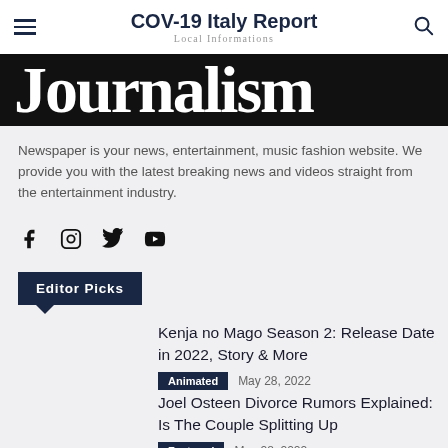COV-19 Italy Report — Local Informations
[Figure (other): Large bold text banner showing partial word 'Journalism' in white on black background]
Newspaper is your news, entertainment, music fashion website. We provide you with the latest breaking news and videos straight from the entertainment industry.
[Figure (other): Social media icons: Facebook, Instagram, Twitter, YouTube]
Editor Picks
Kenja no Mago Season 2: Release Date in 2022, Story & More
Animated  May 28, 2022
Joel Osteen Divorce Rumors Explained: Is The Couple Splitting Up
Featured  May 28, 2022